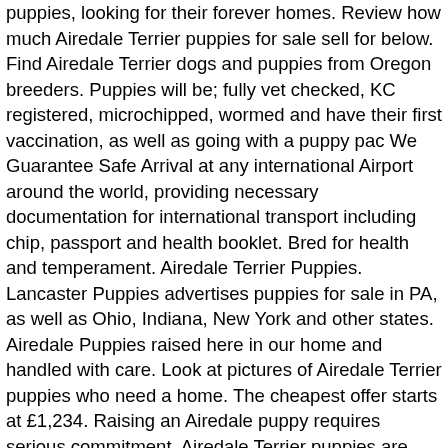puppies, looking for their forever homes. Review how much Airedale Terrier puppies for sale sell for below. Find Airedale Terrier dogs and puppies from Oregon breeders. Puppies will be; fully vet checked, KC registered, microchipped, wormed and have their first vaccination, as well as going with a puppy pac We Guarantee Safe Arrival at any international Airport around the world, providing necessary documentation for international transport including chip, passport and health booklet. Bred for health and temperament. Airedale Terrier Puppies. Lancaster Puppies advertises puppies for sale in PA, as well as Ohio, Indiana, New York and other states. Airedale Puppies raised here in our home and handled with care. Look at pictures of Airedale Terrier puppies who need a home. The cheapest offer starts at £1,234. Raising an Airedale puppy requires serious commitment. Airedale Terrier puppies are shipping in secured plastic boxes. The experience of getting a new puppy creates memories that last a lifetime. Airedale Terrier Farmington, New Mexico, United States . Check it out! Discover more about our Airedale Terrier puppies for sale below! Description: The puppies in this litter are from AKC Registered parents and AKC limited registration is included. Eğitim sürecinde çeşitlilik sunulmazsa Airedale Teriyer sıkılabilir ve aktiviteleri reddedebilir. Please call, text, or e-mail to ... February 10, 2017. Breeders of Airedale Terriers